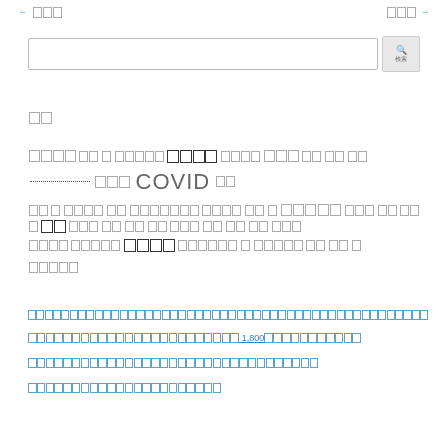← 前頁 　　　　　　　　　　　　　　　　　　　　　　　　　　　　　　　 次頁 →
[Figure (screenshot): Search input box with search button]
目次
Abstract text block with mixed Japanese characters, bold boxes, COVID text, dotted underline, and underlined text segments
関連リンク
Link item 1 - underlined Japanese text characters
Link item 2 - underlined Japanese text with 1,800
Link item 3 - underlined Japanese text characters
Link item 4 - underlined Japanese text characters